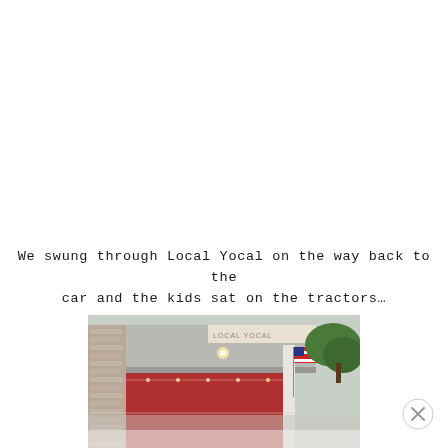We swung through Local Yocal on the way back to the car and the kids sat on the tractors...
[Figure (photo): Exterior photo of Local Yocal farm store building showing a covered entrance with brick columns, string lights, red door area, an American flag, and trees in the background.]